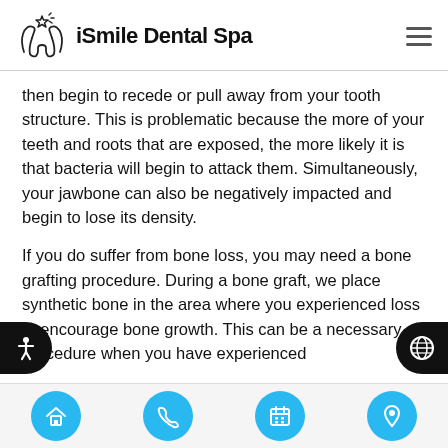iSmile Dental Spa
then begin to recede or pull away from your tooth structure. This is problematic because the more of your teeth and roots that are exposed, the more likely it is that bacteria will begin to attack them. Simultaneously, your jawbone can also be negatively impacted and begin to lose its density.
If you do suffer from bone loss, you may need a bone grafting procedure. During a bone graft, we place synthetic bone in the area where you experienced loss to encourage bone growth. This can be a necessary procedure when you have experienced
Navigation bar with home, phone, calendar, and location icons